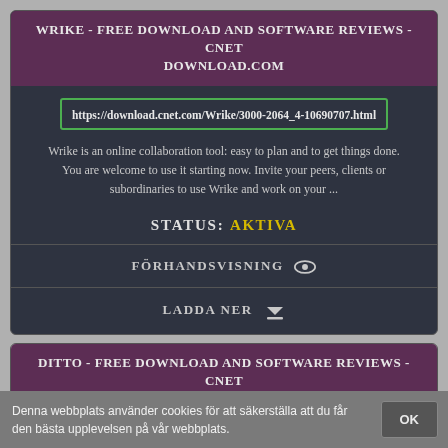WRIKE - FREE DOWNLOAD AND SOFTWARE REVIEWS - CNET DOWNLOAD.COM
https://download.cnet.com/Wrike/3000-2064_4-10690707.html
Wrike is an online collaboration tool: easy to plan and to get things done. You are welcome to use it starting now. Invite your peers, clients or subordinaries to use Wrike and work on your ...
STATUS: AKTIVA
FÖRHANDSVISNING
LADDA NER
DITTO - FREE DOWNLOAD AND SOFTWARE REVIEWS - CNET DOWNLOAD.COM
Denna webbplats använder cookies för att säkerställa att du får den bästa upplevelsen på vår webbplats.